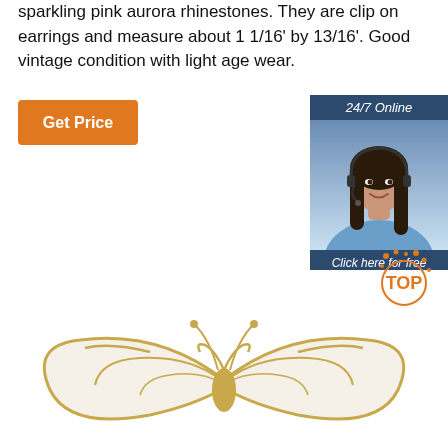sparkling pink aurora rhinestones. They are clip on earrings and measure about 1 1/16' by 13/16'. Good vintage condition with light age wear.
[Figure (other): Orange 'Get Price' button]
[Figure (other): 24/7 Online chat widget with photo of woman with headset, 'Click here for free chat!' text, and orange QUOTATION button]
[Figure (photo): Gold and cream/white butterfly brooch jewelry item photo]
[Figure (logo): TOP badge with orange dots decoration in upper right of butterfly image]